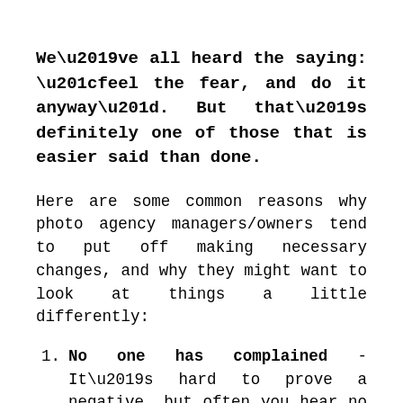We've all heard the saying: “feel the fear, and do it anyway”. But that’s definitely one of those that is easier said than done.
Here are some common reasons why photo agency managers/owners tend to put off making necessary changes, and why they might want to look at things a little differently:
No one has complained - It’s hard to prove a negative, but often you hear no complaints because customers have long since given up and voted with their feet.
We’re not sure the changes will be